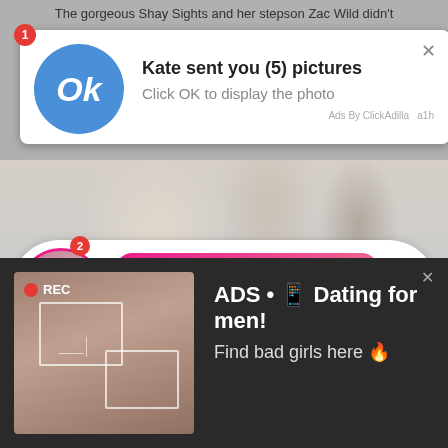The gorgeous Shay Sights and her stepson Zac Wild didn't
[Figure (screenshot): Ad notification popup: blue circle with 'Ok' text, title 'Kate sent you (5) pictures', subtitle 'Click OK to display the photo', footer 'Ads By ClickAdilla a1h']
[Figure (photo): Blurred background showing people in a room]
[Figure (screenshot): Ad notification bubble with avatar, 'LIVE' badge, green 'ADS' tag, text 'Angel is typing ... (emoji)' and '(1) unread message' on pink/magenta gradient background, X close button]
[Figure (screenshot): Dark ad panel with recording camera image on left showing woman taking selfie with REC badge and targeting boxes, right side shows 'ADS • (emoji) Dating for men! Find bad girls here (emoji)']